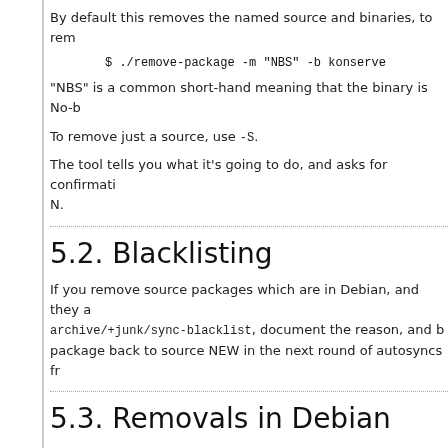By default this removes the named source and binaries, to rem
"NBS" is a common short-hand meaning that the binary is No-b
To remove just a source, use -S.
The tool tells you what it's going to do, and asks for confirmati N.
5.2. Blacklisting
If you remove source packages which are in Debian, and they a archive/+junk/sync-blacklist, document the reason, and b package back to source NEW in the next round of autosyncs fr
5.3. Removals in Debian
From time to time we should remove packages which were rem This client-side tool (from ubuntu-archive-tools) will interac